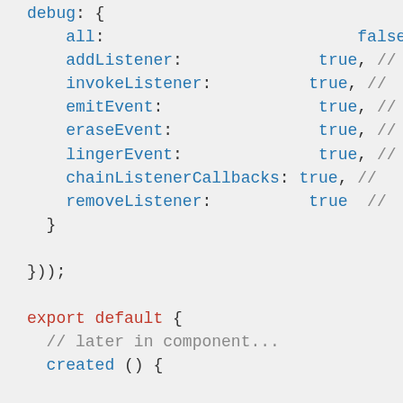Code snippet showing debug configuration object and export default block with created() function